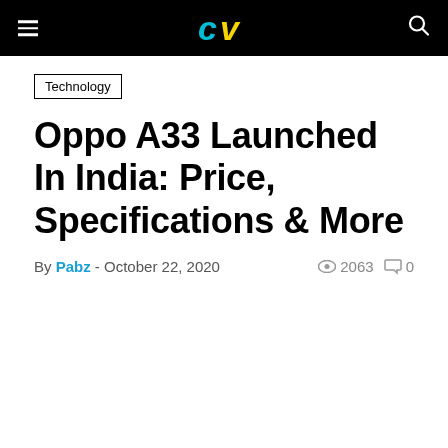CV logo, hamburger menu, search icon
Technology
Oppo A33 Launched In India: Price, Specifications & More
By Pabz - October 22, 2020   2063   0